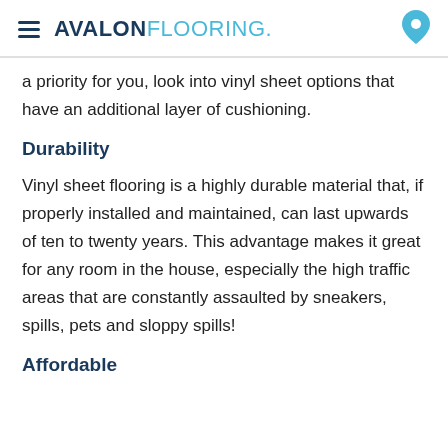AVALON FLOORING
a priority for you, look into vinyl sheet options that have an additional layer of cushioning.
Durability
Vinyl sheet flooring is a highly durable material that, if properly installed and maintained, can last upwards of ten to twenty years. This advantage makes it great for any room in the house, especially the high traffic areas that are constantly assaulted by sneakers, spills, pets and sloppy spills!
Affordable